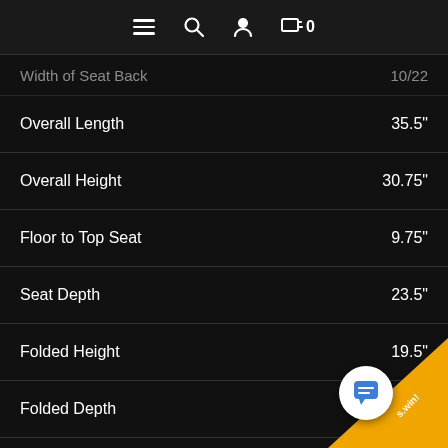Navigation bar with menu, search, account, and cart icons
| Specification | Value |
| --- | --- |
| Width of Seat Back (partial) | 10/22 (partial) |
| Overall Length | 35.5" |
| Overall Height | 30.75" |
| Floor to Top Seat | 9.75" |
| Seat Depth | 23.5" |
| Folded Height | 19.5" |
| Folded Depth | 26.5" |
| Seat Back Height |  |
| Bluetooth Standard |  |